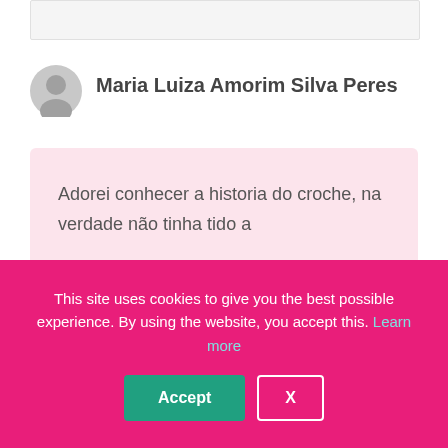[Figure (illustration): Gray placeholder box at top of page]
[Figure (illustration): Generic user avatar icon, gray circle with user silhouette]
Maria Luiza Amorim Silva Peres
Adorei conhecer a historia do croche, na verdade não tinha tido a
This site uses cookies to give you the best possible experience. By using the website, you accept this. Learn more
Accept
X